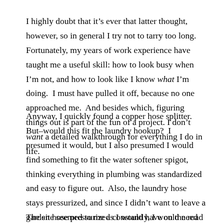I highly doubt that it's ever that latter thought, however, so in general I try not to tarry too long.  Fortunately, my years of work experience have taught me a useful skill: how to look busy when I'm not, and how to look like I know what I'm doing.  I must have pulled it off, because no one approached me.  And besides which, figuring things out is part of the fun of a project.  I don't want a detailed walkthrough for everything I do in life.
Anyway, I quickly found a copper hose splitter.  But–would this fit the laundry hookup?  I presumed it would, but I also presumed I would find something to fit the water softener spigot, thinking everything in plumbing was standardized and easy to figure out.  Also, the laundry hose stays pressurized, and since I didn't want to leave a garden hose pressurized constantly, I would need to split the hookup, and then install a value on the hookup I would use for the hose.
The site seemed to me as I would have on the road searching li...